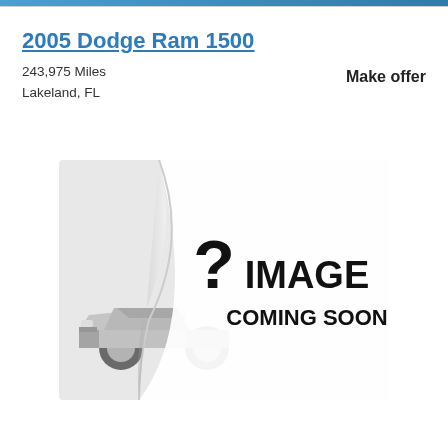2005 Dodge Ram 1500
243,975 Miles
Lakeland, FL
Make offer
[Figure (illustration): Car listing placeholder image showing a generic silver car silhouette on the left with a curled page reveal effect and bold text '? IMAGE COMING SOON' on the right side]